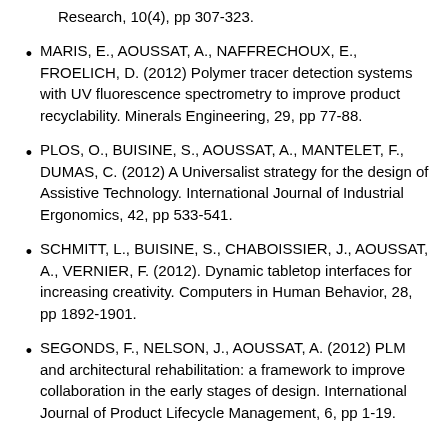Research, 10(4), pp 307-323.
MARIS, E., AOUSSAT, A., NAFFRECHOUX, E., FROELICH, D. (2012) Polymer tracer detection systems with UV fluorescence spectrometry to improve product recyclability. Minerals Engineering, 29, pp 77-88.
PLOS, O., BUISINE, S., AOUSSAT, A., MANTELET, F., DUMAS, C. (2012) A Universalist strategy for the design of Assistive Technology. International Journal of Industrial Ergonomics, 42, pp 533-541.
SCHMITT, L., BUISINE, S., CHABOISSIER, J., AOUSSAT, A., VERNIER, F. (2012). Dynamic tabletop interfaces for increasing creativity. Computers in Human Behavior, 28, pp 1892-1901.
SEGONDS, F., NELSON, J., AOUSSAT, A. (2012) PLM and architectural rehabilitation: a framework to improve collaboration in the early stages of design. International Journal of Product Lifecycle Management, 6, pp 1-19.